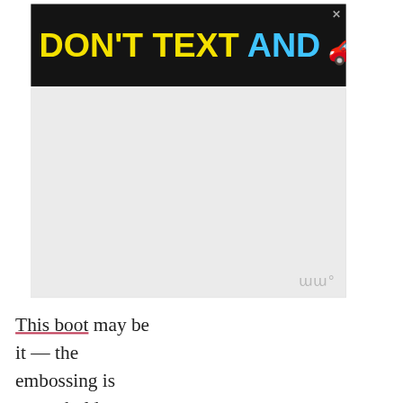[Figure (screenshot): Advertisement banner: DON'T TEXT AND [car emoji] with ad logo and NHTSA branding on black background]
[Figure (other): Gray advertisement placeholder area with weather widget icon in bottom right]
This boot may be it — the embossing is pretty bold, especially when paired with the color — and it's from a comfort brand (Trotters). And they're only $159 new. WHOA.
(If you're liking the idea of wine-colored boots, there are also some waterproof ones from Blond or Aquatalia. On the other side of things — bold
[Figure (screenshot): Bottom advertisement banner: #ViralKindness with rainbow illustration on dark background]